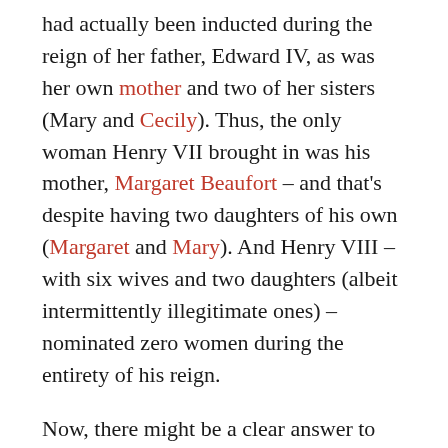had actually been inducted during the reign of her father, Edward IV, as was her own mother and two of her sisters (Mary and Cecily). Thus, the only woman Henry VII brought in was his mother, Margaret Beaufort – and that's despite having two daughters of his own (Margaret and Mary). And Henry VIII – with six wives and two daughters (albeit intermittently illegitimate ones) – nominated zero women during the entirety of his reign.
Now, there might be a clear answer to this and I'm hardly an expert in the Order of the Garter so if someone is and knows what happened here, please do chime in. Absent that, what I'm wondering is whether Henry VIII originally planned to wait until his first